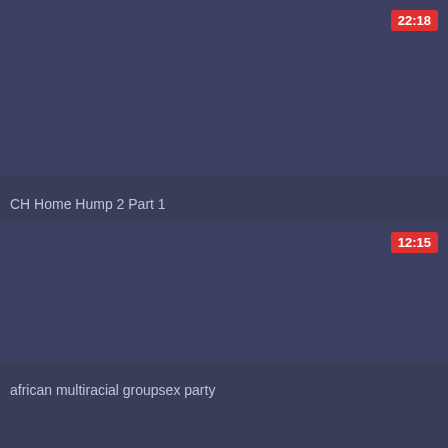[Figure (screenshot): Video thumbnail card 1 - dark blue-grey background with duration badge showing 22:18]
CH Home Hump 2 Part 1
[Figure (screenshot): Video thumbnail card 2 - dark blue-grey background with duration badge showing 12:15]
african multiracial groupsex party